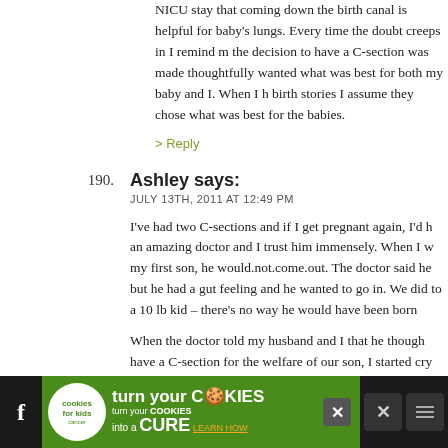NICU stay that coming down the birth canal is helpful for baby's lungs. Every time the doubt creeps in I remind myself the decision to have a C-section was made thoughtfully and I wanted what was best for both my baby and I. When I hear birth stories I assume they chose what was best for their babies.
> Reply
190. Ashley says: JULY 13TH, 2011 AT 12:49 PM
I've had two C-sections and if I get pregnant again, I'd have an amazing doctor and I trust him immensely. When I was having my first son, he would.not.come.out. The doctor said he could but he had a gut feeling and he wanted to go in. We did — gave birth to a 10 lb kid – there's no way he would have been born...
When the doctor told my husband and I that he thought I should have a C-section for the welfare of our son, I started crying — because I was scared for my baby, but he thought I was...
[Figure (other): Advertisement banner: 'cookies for kids cancer — turn your COOKIES into a CURE LEARN HOW' on green background with social media icons]